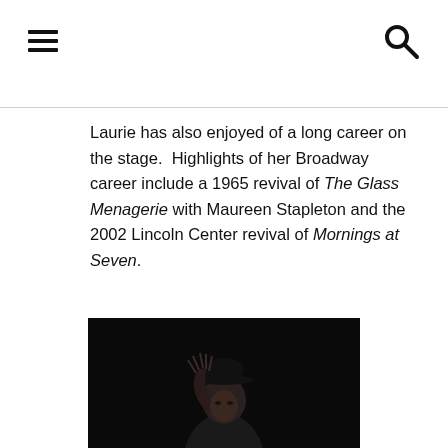Laurie has also enjoyed of a long career on the stage.  Highlights of her Broadway career include a 1965 revival of The Glass Menagerie with Maureen Stapleton and the 2002 Lincoln Center revival of Mornings at Seven.
[Figure (photo): Black and white photograph of a woman dancer wearing a bowler hat and dark outfit, with her right hand raised and fingers spread, performing on stage.]